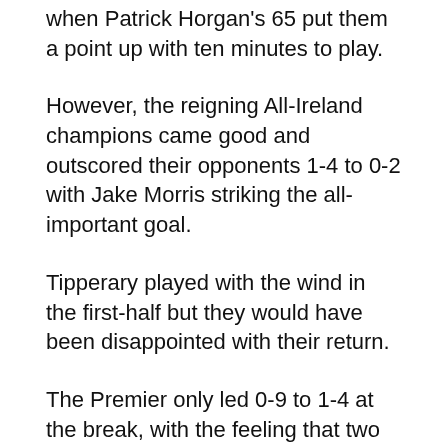when Patrick Horgan's 65 put them a point up with ten minutes to play.
However, the reigning All-Ireland champions came good and outscored their opponents 1-4 to 0-2 with Jake Morris striking the all-important goal.
Tipperary played with the wind in the first-half but they would have been disappointed with their return.
The Premier only led 0-9 to 1-4 at the break, with the feeling that two points was not enough of a lead playing against the elements.
Liam Sheedy's side didn't help themselves, shooting 12 wides. Jason Forde missed frees, you would normally expect him to slot over.
After a loose hand pass by Michael Breen went straight to Horgan in the 22nd minute, the Tipperary defence was